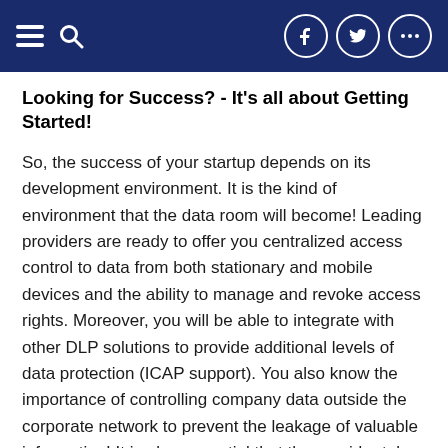Navigation bar with menu, search, Facebook, Twitter, and more icons
Looking for Success? - It's all about Getting Started!
So, the success of your startup depends on its development environment. It is the kind of environment that the data room will become! Leading providers are ready to offer you centralized access control to data from both stationary and mobile devices and the ability to manage and revoke access rights. Moreover, you will be able to integrate with other DLP solutions to provide additional levels of data protection (ICAP support). You also know the importance of controlling company data outside the corporate network to prevent the leakage of valuable information! It is also essential that the provider takes care of the convenience of work for end-users on